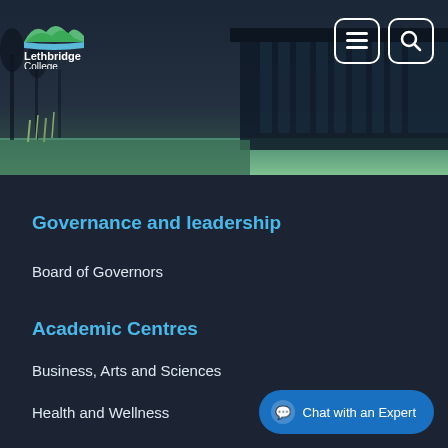[Figure (photo): Lethbridge College campus exterior photo with dark sky, building facade with glass panels, landscaping with grasses. Header banner image.]
Lethbridge College
Governance and leadership
Board of Governors
Executive Leadership
College Leadership and Deans' Council
Policies and procedures
Academic Centres
Business, Arts and Sciences
Health and Wellness